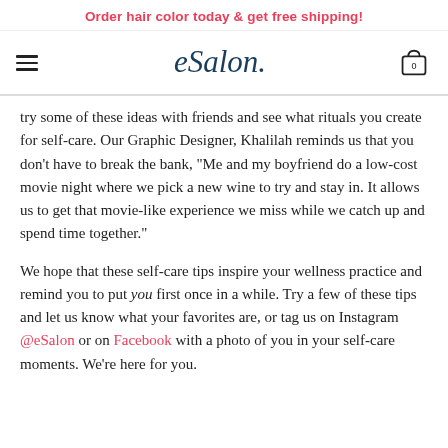Order hair color today & get free shipping!
[Figure (logo): eSalon logo with hamburger menu icon on left and shopping cart icon showing 0 on right]
try some of these ideas with friends and see what rituals you create for self-care. Our Graphic Designer, Khalilah reminds us that you don't have to break the bank, "Me and my boyfriend do a low-cost movie night where we pick a new wine to try and stay in. It allows us to get that movie-like experience we miss while we catch up and spend time together."
We hope that these self-care tips inspire your wellness practice and remind you to put you first once in a while. Try a few of these tips and let us know what your favorites are, or tag us on Instagram @eSalon or on Facebook with a photo of you in your self-care moments. We're here for you.